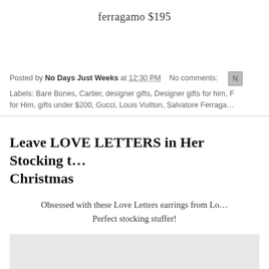ferragamo $195
Posted by No Days Just Weeks at 12:30 PM   No comments:
Labels: Bare Bones, Cartier, designer gifts, Designer gifts for him, F... for Him, gifts under $200, Gucci, Louis Vuitton, Salvatore Ferraga...
Leave LOVE LETTERS in Her Stocking this Christmas
Obsessed with these Love Letters earrings from Lo... Perfect stocking stuffer!
[Figure (photo): Partial image placeholder (gray box) at bottom of page]